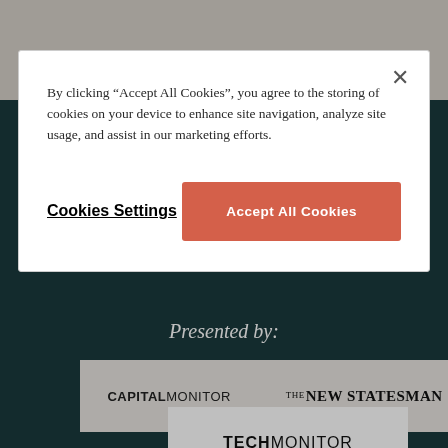[Figure (screenshot): Dark teal background webpage with large white uppercase headline text partially visible reading 'MADE SINCE COP26?', with 'Presented by:' text in italic, and three publisher logos: Capital Monitor, The New Statesman, and Tech Monitor on white/light grey banner strips.]
By clicking “Accept All Cookies”, you agree to the storing of cookies on your device to enhance site navigation, analyze site usage, and assist in our marketing efforts.
Cookies Settings
Accept All Cookies